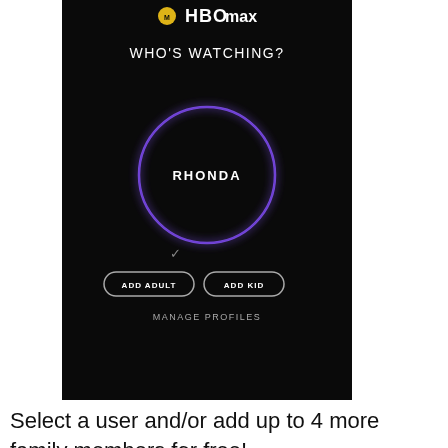[Figure (screenshot): HBO Max app screenshot showing 'WHO'S WATCHING?' profile selection screen with a purple glowing circle profile for 'RHONDA', and buttons for 'ADD ADULT', 'ADD KID', and 'MANAGE PROFILES' on a black background.]
Select a user and/or add up to 4 more family members for free!